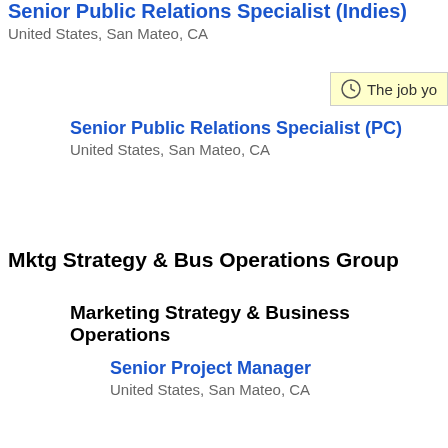Senior Public Relations Specialist (Indies)
United States, San Mateo, CA
Senior Public Relations Specialist (PC)
United States, San Mateo, CA
Mktg Strategy & Bus Operations Group
Marketing Strategy & Business Operations
Senior Project Manager
United States, San Mateo, CA
Web Producer
United States, San Mateo, CA
Net Ads, Merchandise & Loyalty Group
Net Ads, Merchandise & Loyalty
Business Analyst